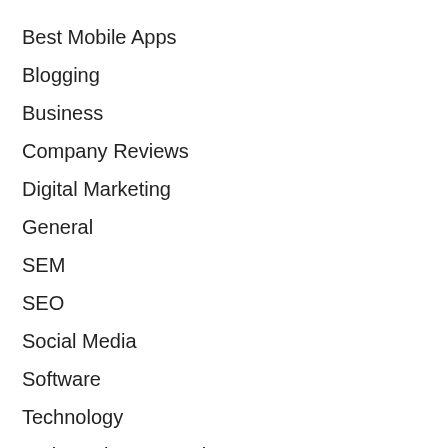Best Mobile Apps
Blogging
Business
Company Reviews
Digital Marketing
General
SEM
SEO
Social Media
Software
Technology
Web Design & Development
Web Hosting
WordPress